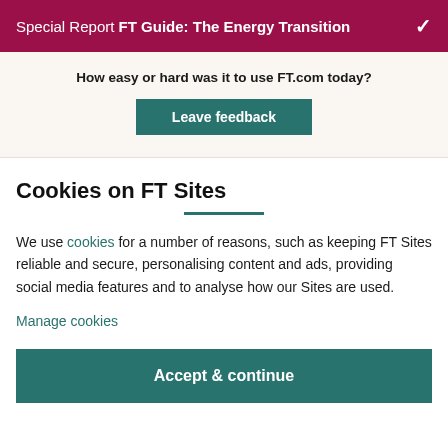Special Report FT Guide: The Energy Transition
How easy or hard was it to use FT.com today?
Leave feedback
Cookies on FT Sites
We use cookies for a number of reasons, such as keeping FT Sites reliable and secure, personalising content and ads, providing social media features and to analyse how our Sites are used.
Manage cookies
Accept & continue